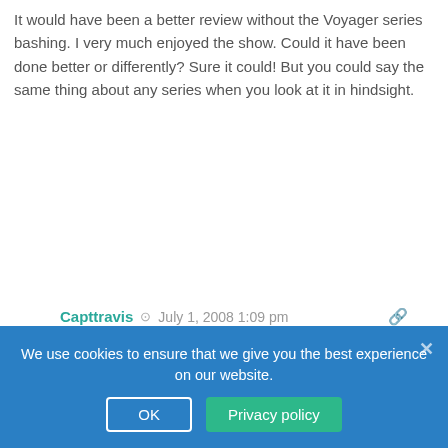It would have been a better review without the Voyager series bashing. I very much enjoyed the show. Could it have been done better or differently? Sure it could! But you could say the same thing about any series when you look at it in hindsight.
Capttravis  ⏱  July 1, 2008 1:09 pm
I still want to know who that 'Angry Bashir' looking character on the top right of the cover is supposed to be.
earthclanbootstrap  ⏱  July 1, 2008 1:18 pm
#5-IIRC from the blurbs that I've read he is a Bashir from a reality where Khan won the eugenics wars and is the captain of an imperial Earth ship.
chris pike should be played by chris pine
We use cookies to ensure that we give you the best experience on our website.